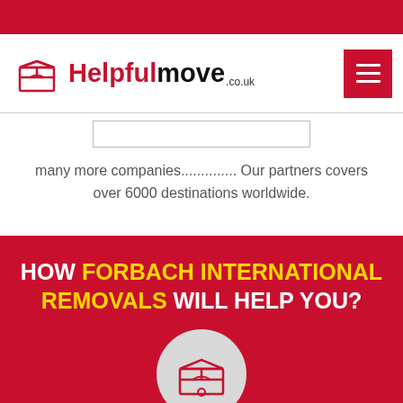[Figure (logo): Helpfulmove.co.uk logo with red box icon and hamburger menu button]
many more companies.............. Our partners covers over 6000 destinations worldwide.
HOW FORBACH INTERNATIONAL REMOVALS WILL HELP YOU?
[Figure (logo): Helpfulmove box icon in grey circle]
DEMENAGEMENTS INTERNATIONAUX - DEVIS